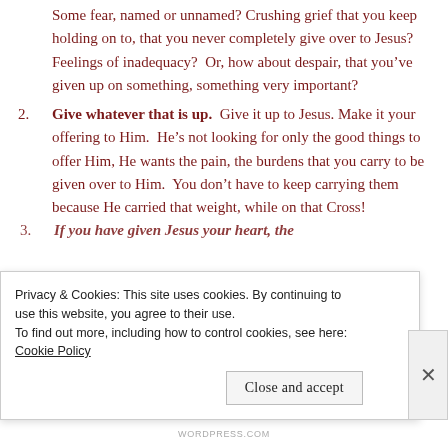Some fear, named or unnamed? Crushing grief that you keep holding on to, that you never completely give over to Jesus? Feelings of inadequacy? Or, how about despair, that you've given up on something, something very important?
2. Give whatever that is up. Give it up to Jesus. Make it your offering to Him. He's not looking for only the good things to offer Him, He wants the pain, the burdens that you carry to be given over to Him. You don't have to keep carrying them because He carried that weight, while on that Cross!
3. If you have given Jesus your heart, then...
Privacy & Cookies: This site uses cookies. By continuing to use this website, you agree to their use.
To find out more, including how to control cookies, see here: Cookie Policy